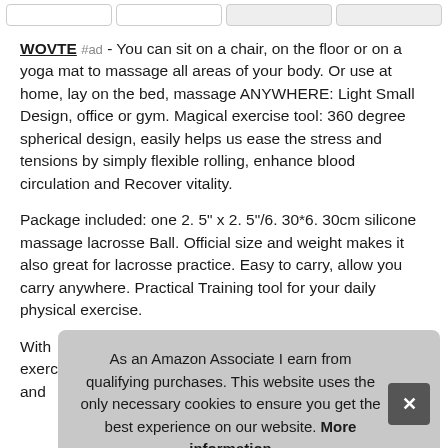[Figure (screenshot): Top navigation bar with four image placeholder boxes]
WOVTE #ad - You can sit on a chair, on the floor or on a yoga mat to massage all areas of your body. Or use at home, lay on the bed, massage ANYWHERE: Light Small Design, office or gym. Magical exercise tool: 360 degree spherical design, easily helps us ease the stress and tensions by simply flexible rolling, enhance blood circulation and Recover vitality.
Package included: one 2. 5" x 2. 5"/6. 30*6. 30cm silicone massage lacrosse Ball. Official size and weight makes it also great for lacrosse practice. Easy to carry, allow you carry anywhere. Practical Training tool for your daily physical exercise.
With exercise your full body muscle, eliminates muscle knots and
As an Amazon Associate I earn from qualifying purchases. This website uses the only necessary cookies to ensure you get the best experience on our website. More information